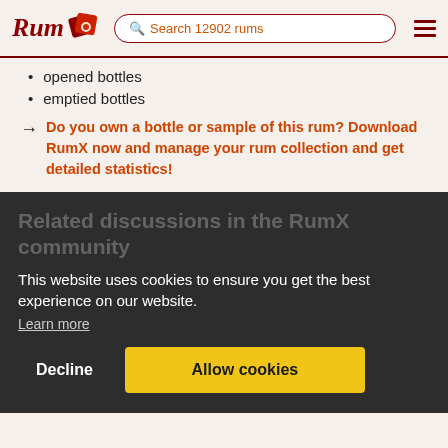Rum [logo] | Search 12902 rums | [menu]
opened bottles
emptied bottles
→ Do you own a bottle or sample of this rum? Download RumX now and manage your rum collection and get detailed statistics!
Related discussions in the RumX community
This website uses cookies to ensure you get the best experience on our website.
Learn more
Decline   Allow cookies